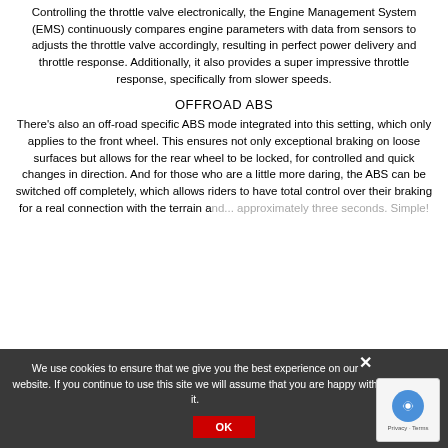Controlling the throttle valve electronically, the Engine Management System (EMS) continuously compares engine parameters with data from sensors to adjusts the throttle valve accordingly, resulting in perfect power delivery and throttle response. Additionally, it also provides a super impressive throttle response, specifically from slower speeds.
OFFROAD ABS
There's also an off-road specific ABS mode integrated into this setting, which only applies to the front wheel. This ensures not only exceptional braking on loose surfaces but allows for the rear wheel to be locked, for controlled and quick changes in direction. And for those who are a little more daring, the ABS can be switched off completely, which allows riders to have total control over their braking for a real connection with the terrain and... approximately three seconds. Simple!
We use cookies to ensure that we give you the best experience on our website. If you continue to use this site we will assume that you are happy with it.